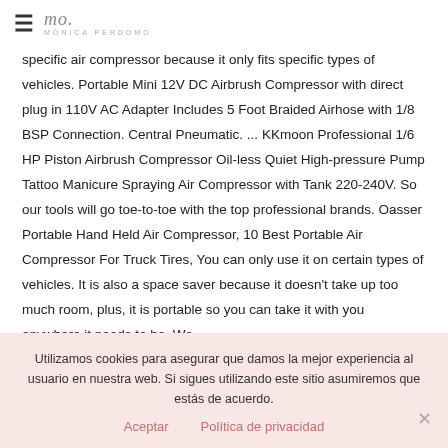≡  mo. MÓNICA PERDOMO
specific air compressor because it only fits specific types of vehicles. Portable Mini 12V DC Airbrush Compressor with direct plug in 110V AC Adapter Includes 5 Foot Braided Airhose with 1/8 BSP Connection. Central Pneumatic. ... KKmoon Professional 1/6 HP Piston Airbrush Compressor Oil-less Quiet High-pressure Pump Tattoo Manicure Spraying Air Compressor with Tank 220-240V. So our tools will go toe-to-toe with the top professional brands. Oasser Portable Hand Held Air Compressor, 10 Best Portable Air Compressor For Truck Tires, You can only use it on certain types of vehicles. It is also a space saver because it doesn't take up too much room, plus, it is portable so you can take it with you anywhere it needs to be. We
Utilizamos cookies para asegurar que damos la mejor experiencia al usuario en nuestra web. Si sigues utilizando este sitio asumiremos que estás de acuerdo.
Aceptar   Política de privacidad